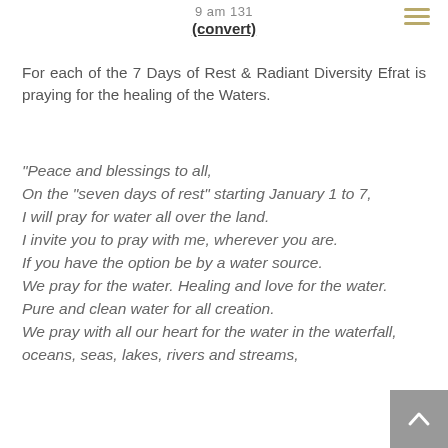9 am 131
(convert)
For each of the 7 Days of Rest & Radiant Diversity Efrat is praying for the healing of the Waters.
"Peace and blessings to all,
On the "seven days of rest" starting January 1 to 7,
I will pray for water all over the land.
I invite you to pray with me, wherever you are.
If you have the option be by a water source.
We pray for the water. Healing and love for the water.
Pure and clean water for all creation.
We pray with all our heart for the water in the waterfall, oceans, seas, lakes, rivers and streams,